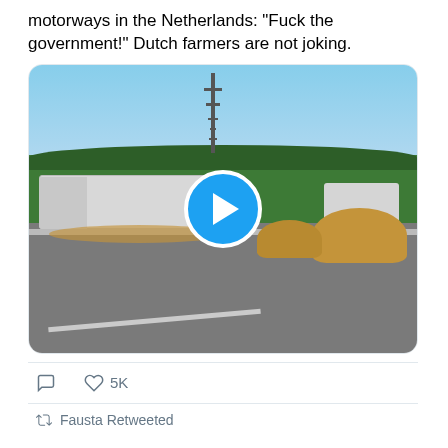motorways in the Netherlands: "Fuck the government!" Dutch farmers are not joking.
[Figure (screenshot): Video thumbnail showing a motorway scene in the Netherlands with hay bales scattered on the road, trucks, trees, and a communications tower in the background. A blue play button overlay is visible in the center.]
5K
Fausta Retweeted